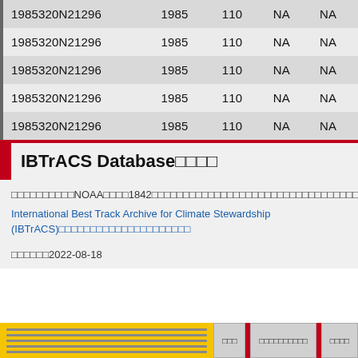| ID | Year | Value | Col4 | Col5 |
| --- | --- | --- | --- | --- |
| 1985320N21296 | 1985 | 110 | NA | NA |
| 1985320N21296 | 1985 | 110 | NA | NA |
| 1985320N21296 | 1985 | 110 | NA | NA |
| 1985320N21296 | 1985 | 110 | NA | NA |
| 1985320N21296 | 1985 | 110 | NA | NA |
IBTrACS Database□□□□
□□□□□□□□□□NOAA□□□□1842□□□□□□□□□□□□□□□□□□□□□□□□□□□□□
International Best Track Archive for Climate Stewardship (IBTrACS)□□□□□□□□□□□□□□□□□□□□□
□□□□□□2022-08-18
□□□ | □□□□□□□□□□ | □□□□